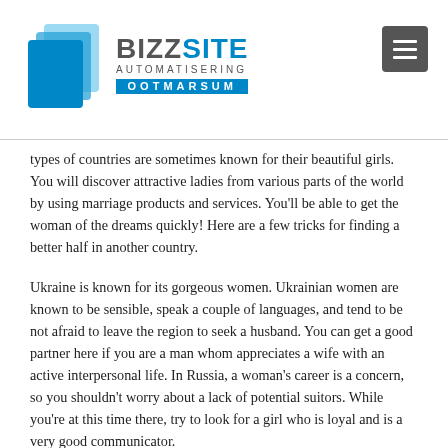[Figure (logo): BizzSite Automatisering Ootmarsum logo with blue layered pages icon and text]
types of countries are sometimes known for their beautiful girls. You will discover attractive ladies from various parts of the world by using marriage products and services. You'll be able to get the woman of the dreams quickly! Here are a few tricks for finding a better half in another country.
Ukraine is known for its gorgeous women. Ukrainian women are known to be sensible, speak a couple of languages, and tend to be not afraid to leave the region to seek a husband. You can get a good partner here if you are a man whom appreciates a wife with an active interpersonal life. In Russia, a woman's career is a concern, so you shouldn't worry about a lack of potential suitors. While you're at this time there, try to look for a girl who is loyal and is a very good communicator.
When you are looking for a woman who has good family valuations, consider Far eastern Europe. You'll find that women in Eastern Europe are easily familiar with a traditional western